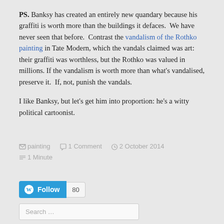PS. Banksy has created an entirely new quandary because his graffiti is worth more than the buildings it defaces.  We have never seen that before.  Contrast the vandalism of the Rothko painting in Tate Modern, which the vandals claimed was art: their graffiti was worthless, but the Rothko was valued in millions. If the vandalism is worth more than what's vandalised, preserve it.  If, not, punish the vandals.

I like Banksy, but let's get him into proportion: he's a witty political cartoonist.
painting  1 Comment  2 October 2014  1 Minute
[Figure (other): WordPress Follow button with count badge showing 80]
Search ...